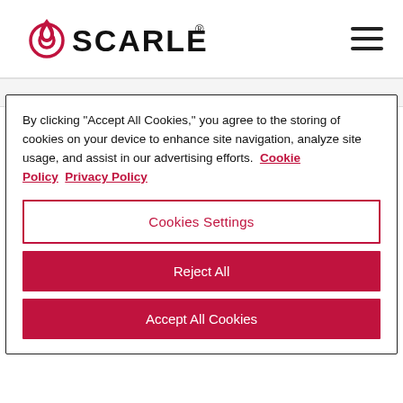[Figure (logo): Scarlet logo with red droplet/target icon and SCARLET® wordmark in black]
By clicking "Accept All Cookies," you agree to the storing of cookies on your device to enhance site navigation, analyze site usage, and assist in our advertising efforts. Cookie Policy  Privacy Policy
Cookies Settings
Reject All
Accept All Cookies